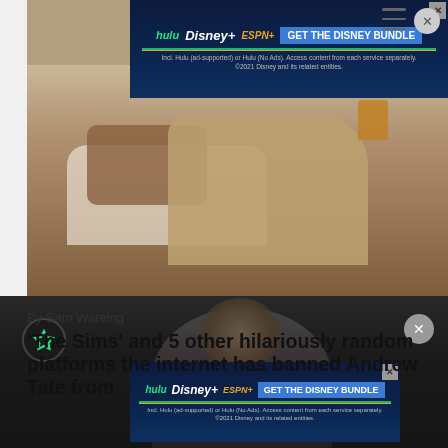[Figure (screenshot): Advertisement banner for Disney Bundle (Hulu, Disney+, ESPN+) with blue background and 'GET THE DISNEY BUNDLE' call to action button]
[Figure (photo): Photograph showing a person seated on a white couch with tattooed arms and khaki pants, with a drink visible in the background]
By Sam Wareing
'The Sims' and 5 other hilariously random platforms the internet has banned Andrew Tate from
[Figure (photo): Dark photograph showing a person's face in dim lighting, with an advertisement overlay for the Disney Bundle]
[Figure (screenshot): Second advertisement banner for Disney Bundle (Hulu, Disney+, ESPN+) overlaid on the bottom photo]